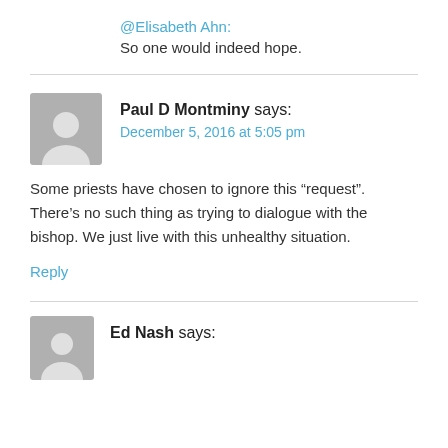@Elisabeth Ahn: So one would indeed hope.
Paul D Montminy says: December 5, 2016 at 5:05 pm
Some priests have chosen to ignore this “request”. There’s no such thing as trying to dialogue with the bishop. We just live with this unhealthy situation.
Reply
Ed Nash says: